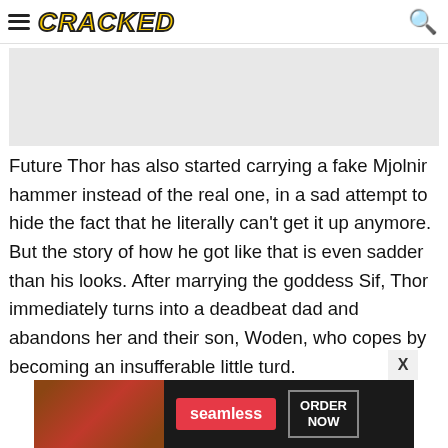CRACKED
[Figure (photo): Gray image placeholder area, likely an article image]
Future Thor has also started carrying a fake Mjolnir hammer instead of the real one, in a sad attempt to hide the fact that he literally can't get it up anymore. But the story of how he got like that is even sadder than his looks. After marrying the goddess Sif, Thor immediately turns into a deadbeat dad and abandons her and their son, Woden, who copes by becoming an insufferable little turd.
[Figure (infographic): Seamless food delivery advertisement banner with pizza image, Seamless logo, and ORDER NOW button]